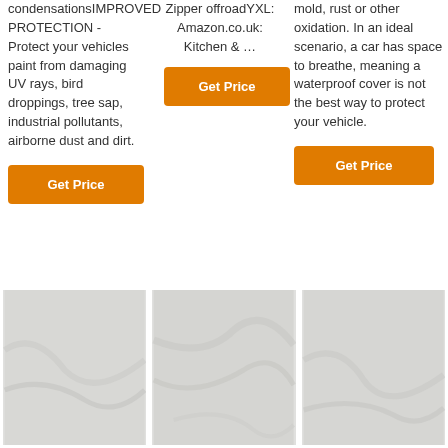condensationsIMPROVED PROTECTION - Protect your vehicles paint from damaging UV rays, bird droppings, tree sap, industrial pollutants, airborne dust and dirt.
[Figure (other): Orange Get Price button (left column)]
Zipper offroadYXL: Amazon.co.uk: Kitchen & …
[Figure (other): Orange Get Price button (middle column)]
mold, rust or other oxidation. In an ideal scenario, a car has space to breathe, meaning a waterproof cover is not the best way to protect your vehicle.
[Figure (other): Orange Get Price button (right column)]
[Figure (photo): Light grey fabric texture photo, left]
[Figure (photo): Light grey fabric texture photo, middle]
[Figure (photo): Light grey fabric texture photo, right]